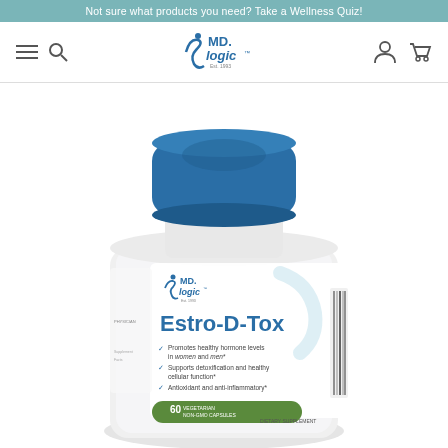Not sure what products you need? Take a Wellness Quiz!
[Figure (logo): MD Logic logo with navigation bar including hamburger menu, search icon, user icon, and cart icon]
[Figure (photo): MD Logic Estro-D-Tox supplement bottle with blue cap. Label shows MD Logic logo, product name Estro-D-Tox, 60 vegetarian non-GMO capsules, dietary supplement. Bullet points: Promotes healthy hormone levels in women and men*, Supports detoxification and healthy cellular function*, Antioxidant and anti-inflammatory*]